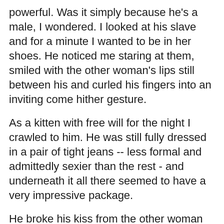powerful. Was it simply because he's a male, I wondered. I looked at his slave and for a minute I wanted to be in her shoes. He noticed me staring at them, smiled with the other woman's lips still between his and curled his fingers into an inviting come hither gesture.
As a kitten with free will for the night I crawled to him. He was still fully dressed in a pair of tight jeans -- less formal and admittedly sexier than the rest - and underneath it all there seemed to have a very impressive package.
He broke his kiss from the other woman and took a close look, first at me and then at Larissa. When their eyes met, I realised straight away that they knew each other, even though I was sure I have never seen him before. Her cheeks were slightly flushed, and it was obvious to me that the previous scene and everything that surrounded us had turned her on. I